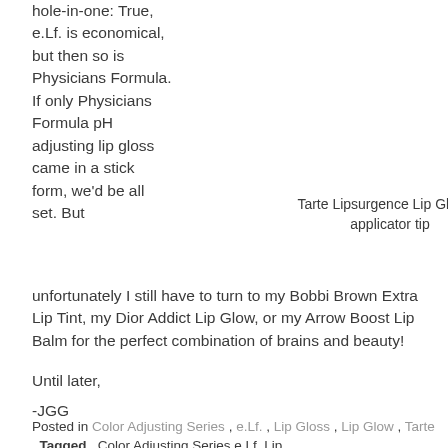hole-in-one: True, e.Lf. is economical, but then so is Physicians Formula. If only Physicians Formula pH adjusting lip gloss came in a stick form, we'd be all set. But unfortunately I still have to turn to my Bobbi Brown Extra Lip Tint, my Dior Addict Lip Glow, or my Arrow Boost Lip Balm for the perfect combination of brains and beauty!
Tarte Lipsurgence Lip Gloss – applicator tip
Until later,
-JGG
Posted in Color Adjusting Series , e.Lf. , Lip Gloss , Lip Glow , Tarte   Tagged , Color Adjusting Series e.Lf. Lip